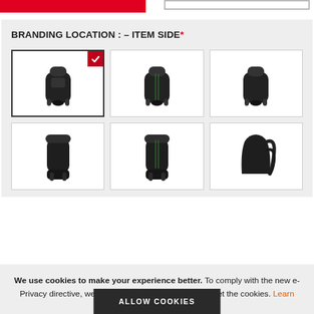[Figure (screenshot): Top partial UI bar with red filled left section and outlined right section]
BRANDING LOCATION : – ITEM SIDE*
[Figure (photo): Grid of 6 backpack images showing different sides/views for branding location selection. First image is selected with a red checkmark.]
We use cookies to make your experience better. To comply with the new e-Privacy directive, we need to ask for your consent to set the cookies. Learn more.
ALLOW COOKIES